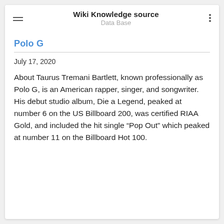Wiki Knowledge source
Data Base
Polo G
July 17, 2020
About Taurus Tremani Bartlett, known professionally as Polo G, is an American rapper, singer, and songwriter. His debut studio album, Die a Legend, peaked at number 6 on the US Billboard 200, was certified RIAA Gold, and included the hit single “Pop Out” which peaked at number 11 on the Billboard Hot 100.